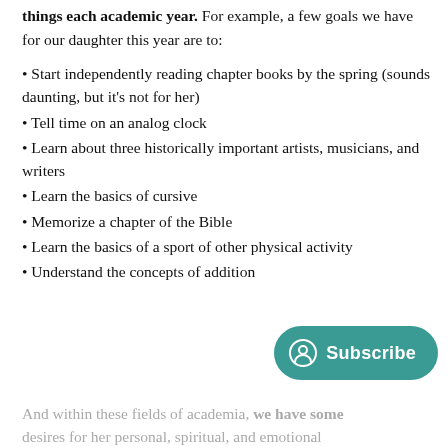things each academic year. For example, a few goals we have for our daughter this year are to:
Start independently reading chapter books by the spring (sounds daunting, but it's not for her)
Tell time on an analog clock
Learn about three historically important artists, musicians, and writers
Learn the basics of cursive
Memorize a chapter of the Bible
Learn the basics of a sport of other physical activity
Understand the concepts of addition
And within these fields of academia, we have some desires for her personal, spiritual, and emotional